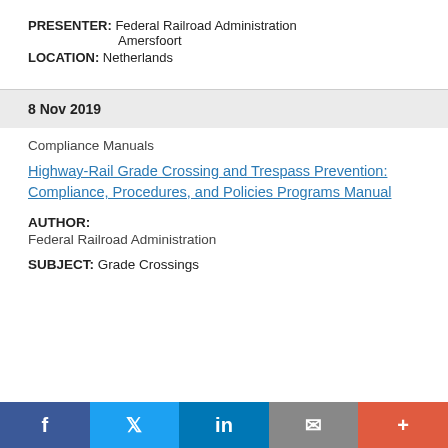PRESENTER: Federal Railroad Administration
Amersfoort
LOCATION: Netherlands
8 Nov 2019
Compliance Manuals
Highway-Rail Grade Crossing and Trespass Prevention: Compliance, Procedures, and Policies Programs Manual
AUTHOR:
Federal Railroad Administration
SUBJECT: Grade Crossings
f  🐦  in  ✉  +